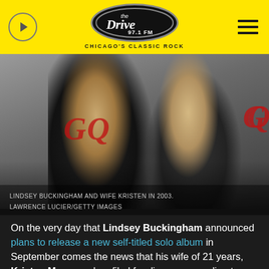The Drive 97.1 FM — Chicago's Classic Rock
[Figure (photo): Lindsey Buckingham and wife Kristen in 2003 at a GQ event, standing together against a GQ-branded backdrop]
LINDSEY BUCKINGHAM AND WIFE KRISTEN IN 2003. LAWRENCE LUCIER/GETTY IMAGES
On the very day that Lindsey Buckingham announced plans to release a new self-titled solo album in September comes the news that his wife of 21 years, Kristen Messner, has filed for divorce, according to TMZ.
The tabloid reports that Messner filed legal